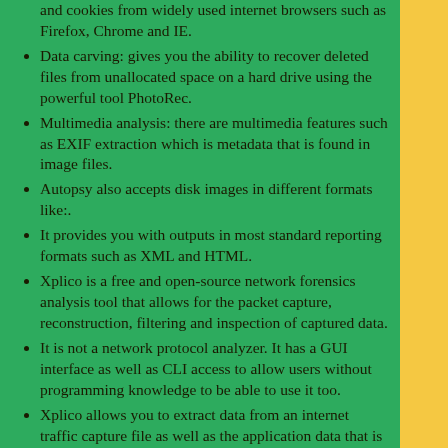and cookies from widely used internet browsers such as Firefox, Chrome and IE.
Data carving: gives you the ability to recover deleted files from unallocated space on a hard drive using the powerful tool PhotoRec.
Multimedia analysis: there are multimedia features such as EXIF extraction which is metadata that is found in image files.
Autopsy also accepts disk images in different formats like:.
It provides you with outputs in most standard reporting formats such as XML and HTML.
Xplico is a free and open-source network forensics analysis tool that allows for the packet capture, reconstruction, filtering and inspection of captured data.
It is not a network protocol analyzer. It has a GUI interface as well as CLI access to allow users without programming knowledge to be able to use it too.
Xplico allows you to extract data from an internet traffic capture file as well as the application data that is housed within.
If you feed Xplico a PCAP file then you can expect to extract important information such as: